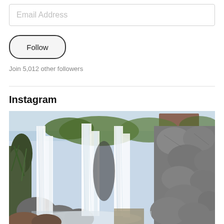Email Address
Follow
Join 5,012 other followers
Instagram
[Figure (photo): An outdoor waterfall flowing over and between large granite/basalt rocks, with green vegetation visible in the background and a wooden structure partially visible. The water appears silky smooth from a long exposure. Clear blue sky visible at top.]